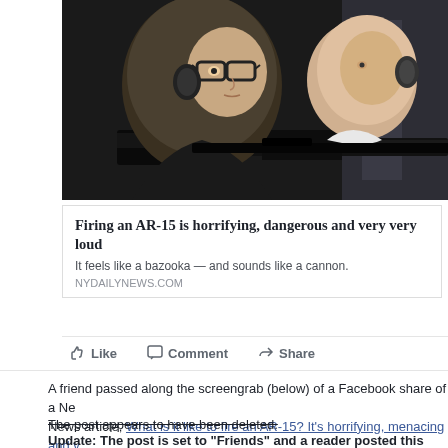[Figure (photo): Two men aiming a rifle, one with glasses in foreground, dark indoor setting with gun visible]
Firing an AR-15 is horrifying, dangerous and very very loud
It feels like a bazooka — and sounds like a cannon.
NYDAILYNEWS.COM
Like   Comment   Share
A friend passed along the screengrab (below) of a Facebook share of a New York Daily News article, What is it like to fire an AR-15? It's horrifying, menacing and very, very loud posted today by Representative Tim Miller, R-Prinsburg, on his personal Facebook page.
The post appears to have been deleted.
Update: The post is set to "Friends" and a reader posted this remark i